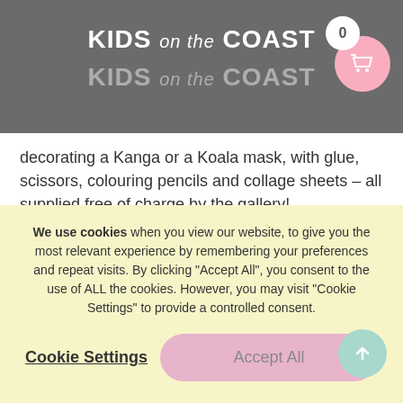KIDS on the COAST
decorating a Kanga or a Koala mask, with glue, scissors, colouring pencils and collage sheets – all supplied free of charge by the gallery!
1. Design your own creature – choosing which mask you want first (we did both as choices seemed too hard for a three-year-old)!
2. Cut the designs out from the collage sheets and
We use cookies when you view our website, to give you the most relevant experience by remembering your preferences and repeat visits. By clicking "Accept All", you consent to the use of ALL the cookies. However, you may visit "Cookie Settings" to provide a controlled consent.